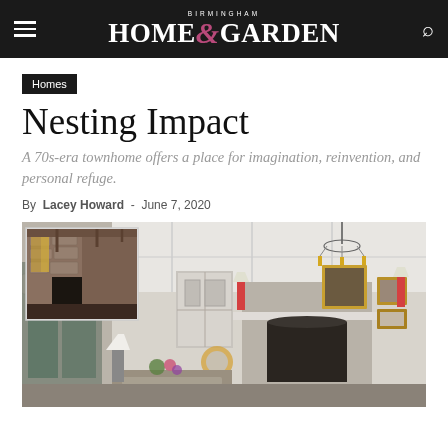BIRMINGHAM HOME&GARDEN
Homes
Nesting Impact
A 70s-era townhome offers a place for imagination, reinvention, and personal refuge.
By Lacey Howard - June 7, 2020
[Figure (photo): Interior living room with whitewashed stone fireplace, framed portraits and artwork on mantel, chandelier, and decorative furniture. An inset thumbnail shows the original state of the room with exposed stone fireplace and wood beams.]